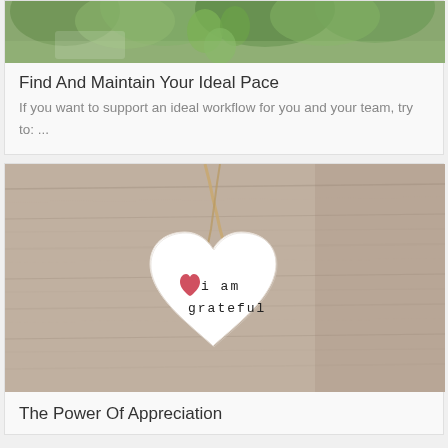[Figure (photo): Top portion of a photo showing green plants/hops against a blurred background]
Find And Maintain Your Ideal Pace
If you want to support an ideal workflow for you and your team, try to: ...
[Figure (photo): A white ceramic heart ornament with a pink heart and text 'i am grateful' stamped on it, hanging by twine on a wooden surface]
The Power Of Appreciation